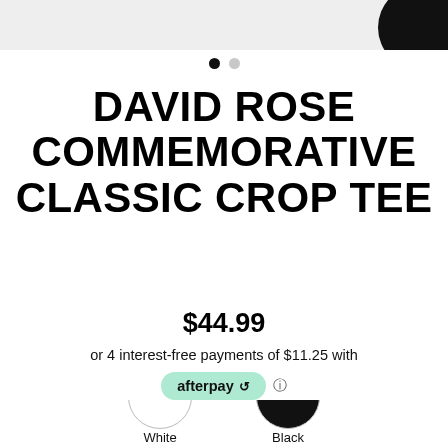[Figure (screenshot): Top portion of a product image carousel with a partial black circle visible in top-right corner, light gray background]
• •
DAVID ROSE COMMEMORATIVE CLASSIC CROP TEE
$44.99
or 4 interest-free payments of $11.25 with
[Figure (logo): Afterpay logo badge in mint/teal color with afterpay arrow icon and an info icon]
Tax included.
[Figure (screenshot): Salmon/pink colored MENU button bar with hamburger icon and MENU text in white]
White   Black